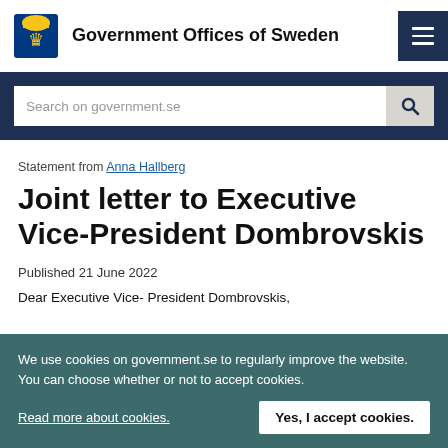Government Offices of Sweden
Search on government.se
Statement from Anna Hallberg
Joint letter to Executive Vice-President Dombrovskis
Published 21 June 2022
Dear Executive Vice- President Dombrovskis,
We use cookies on government.se to regularly improve the website. You can choose whether or not to accept cookies.
Read more about cookies.
Yes, I accept cookies.